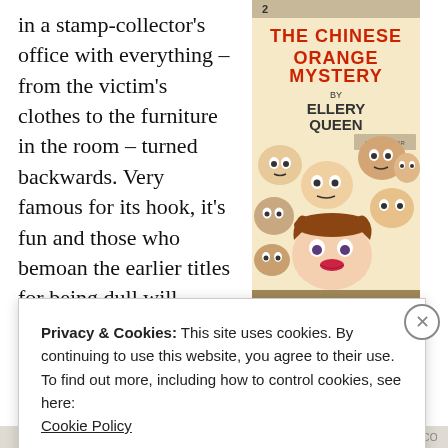in a stamp-collector's office with everything – from the victim's clothes to the furniture in the room – turned backwards. Very famous for its hook, it's fun and those who bemoan the earlier titles for being dull will probably enjoy it, but I consider it to be a bit overrated. The solution for the
[Figure (illustration): Book cover for 'The Chinese Orange Mystery' by Ellery Queen, showing illustrated faces of various characters looking downward, with bold red title text at top.]
Privacy & Cookies: This site uses cookies. By continuing to use this website, you agree to their use.
To find out more, including how to control cookies, see here:
Cookie Policy
Close and accept
BROKETHIS.CO